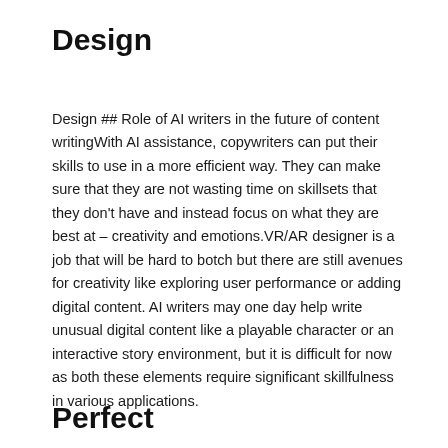Design
Design ## Role of AI writers in the future of content writingWith AI assistance, copywriters can put their skills to use in a more efficient way. They can make sure that they are not wasting time on skillsets that they don’t have and instead focus on what they are best at – creativity and emotions.VR/AR designer is a job that will be hard to botch but there are still avenues for creativity like exploring user performance or adding digital content. AI writers may one day help write unusual digital content like a playable character or an interactive story environment, but it is difficult for now as both these elements require significant skillfulness in various applications.
Perfect